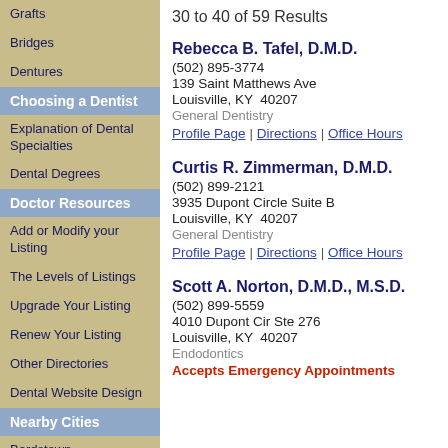Grafts
Bridges
Dentures
Choosing a Dentist
Explanation of Dental Specialties
Dental Degrees
Doctor Resources
Add or Modify your Listing
The Levels of Listings
Upgrade Your Listing
Renew Your Listing
Other Directories
Dental Website Design
Nearby Cities
Bardstown
30 to 40 of 59 Results
Rebecca B. Tafel, D.M.D.
(502) 895-3774
139 Saint Matthews Ave
Louisville, KY  40207
General Dentistry
Profile Page | Directions | Office Hours
Curtis R. Zimmerman, D.M.D.
(502) 899-2121
3935 Dupont Circle Suite B
Louisville, KY  40207
General Dentistry
Profile Page | Directions | Office Hours
Scott A. Norton, D.M.D., M.S.D.
(502) 899-5559
4010 Dupont Cir Ste 276
Louisville, KY  40207
Endodontics
Accepts Emergency Appointments